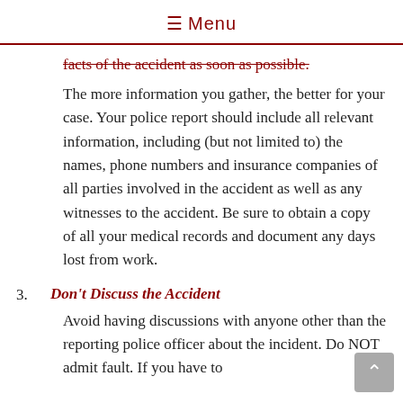≡ Menu
facts of the accident as soon as possible. The more information you gather, the better for your case. Your police report should include all relevant information, including (but not limited to) the names, phone numbers and insurance companies of all parties involved in the accident as well as any witnesses to the accident. Be sure to obtain a copy of all your medical records and document any days lost from work.
3. Don't Discuss the Accident
Avoid having discussions with anyone other than the reporting police officer about the incident. Do NOT admit fault. If you have to